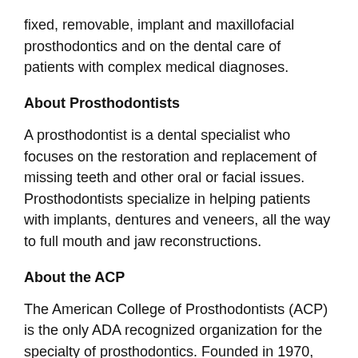fixed, removable, implant and maxillofacial prosthodontics and on the dental care of patients with complex medical diagnoses.
About Prosthodontists
A prosthodontist is a dental specialist who focuses on the restoration and replacement of missing teeth and other oral or facial issues. Prosthodontists specialize in helping patients with implants, dentures and veneers, all the way to full mouth and jaw reconstructions.
About the ACP
The American College of Prosthodontists (ACP) is the only ADA recognized organization for the specialty of prosthodontics. Founded in 1970, the ACP is dedicated to advancing the art and science of prosthodontics and